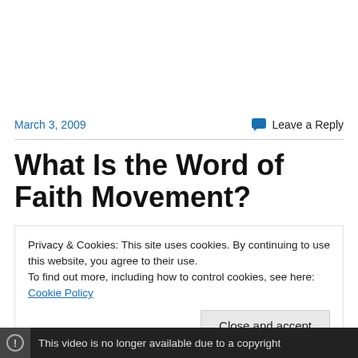March 3, 2009
Leave a Reply
What Is the Word of Faith Movement?
Privacy & Cookies: This site uses cookies. By continuing to use this website, you agree to their use.
To find out more, including how to control cookies, see here: Cookie Policy
Close and accept
This video is no longer available due to a copyright